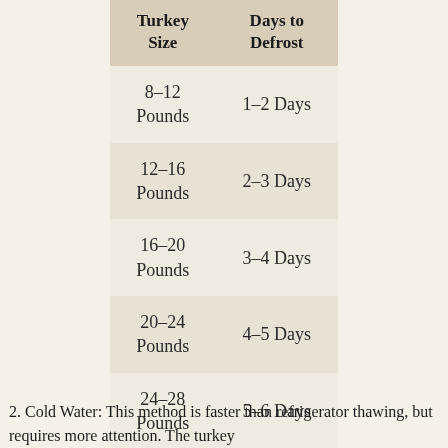| Turkey Size | Days to Defrost |
| --- | --- |
| 8–12 Pounds | 1–2 Days |
| 12–16 Pounds | 2–3 Days |
| 16–20 Pounds | 3–4 Days |
| 20–24 Pounds | 4–5 Days |
| 24–28 Pounds | 5–6 Days |
2. Cold Water: This method is faster than refrigerator thawing, but requires more attention. The turkey